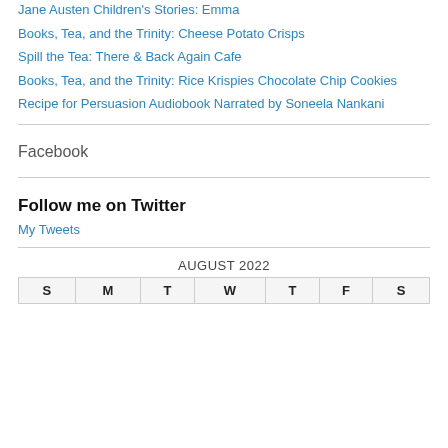Jane Austen Children's Stories: Emma
Books, Tea, and the Trinity: Cheese Potato Crisps
Spill the Tea: There & Back Again Cafe
Books, Tea, and the Trinity: Rice Krispies Chocolate Chip Cookies
Recipe for Persuasion Audiobook Narrated by Soneela Nankani
Facebook
Follow me on Twitter
My Tweets
| S | M | T | W | T | F | S |
| --- | --- | --- | --- | --- | --- | --- |